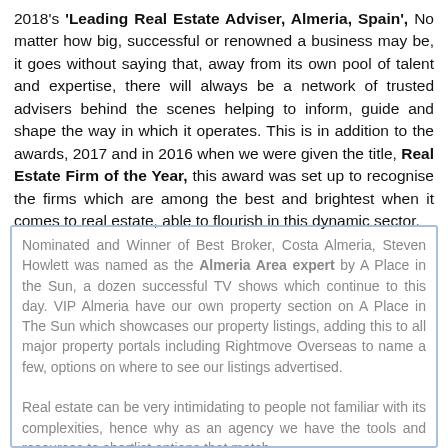2018's 'Leading Real Estate Adviser, Almeria, Spain', No matter how big, successful or renowned a business may be, it goes without saying that, away from its own pool of talent and expertise, there will always be a network of trusted advisers behind the scenes helping to inform, guide and shape the way in which it operates. This is in addition to the awards, 2017 and in 2016 when we were given the title, Real Estate Firm of the Year, this award was set up to recognise the firms which are among the best and brightest when it comes to real estate, able to flourish in this dynamic sector.
Nominated and Winner of Best Broker, Costa Almeria, Steven Howlett was named as the Almeria Area expert by A Place in the Sun, a dozen successful TV shows which continue to this day. VIP Almeria have our own property section on A Place in The Sun which showcases our property listings, adding this to all major property portals including Rightmove Overseas to name a few, options on where to see our listings advertised.
We care about your privacy
We use cookies to optimise your experience on our website. Click here for more information.
Accept cookies
Not now
Real estate can be very intimidating to people not familiar with its complexities, hence why as an agency we have the tools and resources to shortlist options that match